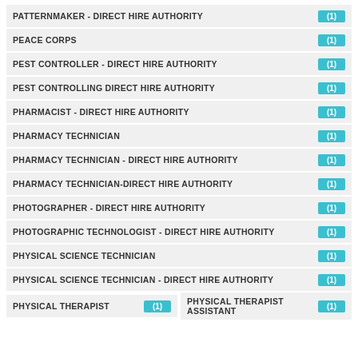PATTERNMAKER - DIRECT HIRE AUTHORITY (1)
PEACE CORPS (1)
PEST CONTROLLER - DIRECT HIRE AUTHORITY (1)
PEST CONTROLLING DIRECT HIRE AUTHORITY (1)
PHARMACIST - DIRECT HIRE AUTHORITY (1)
PHARMACY TECHNICIAN (1)
PHARMACY TECHNICIAN - DIRECT HIRE AUTHORITY (1)
PHARMACY TECHNICIAN-DIRECT HIRE AUTHORITY (1)
PHOTOGRAPHER - DIRECT HIRE AUTHORITY (1)
PHOTOGRAPHIC TECHNOLOGIST - DIRECT HIRE AUTHORITY (1)
PHYSICAL SCIENCE TECHNICIAN (1)
PHYSICAL SCIENCE TECHNICIAN - DIRECT HIRE AUTHORITY (1)
PHYSICAL THERAPIST (1)
PHYSICAL THERAPIST ASSISTANT (1)